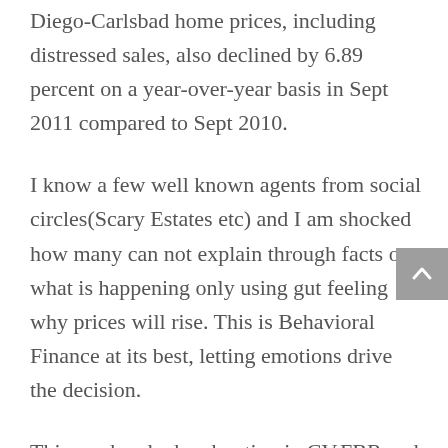Diego-Carlsbad home prices, including distressed sales, also declined by 6.89 percent on a year-over-year basis in Sept 2011 compared to Sept 2010.
I know a few well known agents from social circles(Scary Estates etc) and I am shocked how many can not explain through facts on what is happening only using gut feeling why prices will rise. This is Behavioral Finance at its best, letting emotions drive the decision.
This weekend when hunting in CV,FBR and RSF I will ask a few knowledgeable